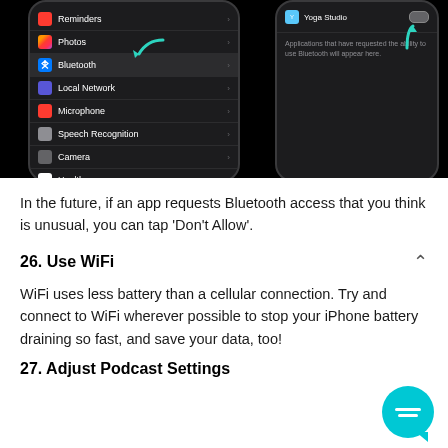[Figure (screenshot): Two iPhone screenshots showing iOS Privacy settings. Left phone shows a list of privacy categories: Reminders, Photos, Bluetooth (highlighted with teal arrow), Local Network, Microphone, Speech Recognition, Camera, Health. Right phone shows Bluetooth settings with Yoga Studio app and a teal arrow pointing to a toggle.]
In the future, if an app requests Bluetooth access that you think is unusual, you can tap 'Don't Allow'.
26. Use WiFi
WiFi uses less battery than a cellular connection. Try and connect to WiFi wherever possible to stop your iPhone battery draining so fast, and save your data, too!
27. Adjust Podcast Settings